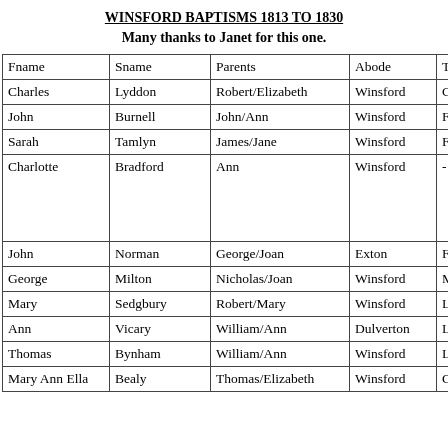WINSFORD BAPTISMS 1813 TO 1830
Many thanks to Janet for this one.
| Fname | Sname | Parents | Abode | Trade |
| --- | --- | --- | --- | --- |
| Charles | Lyddon | Robert/Elizabeth | Winsford | Gentleman |
| John | Burnell | John/Ann | Winsford | Farmer |
| Sarah | Tamlyn | James/Jane | Winsford | Farmer |
| Charlotte | Bradford | Ann | Winsford | - |
| John | Norman | George/Joan | Exton | Farmer |
| George | Milton | Nicholas/Joan | Winsford | Miller |
| Mary | Sedgbury | Robert/Mary | Winsford | Labourer |
| Ann | Vicary | William/Ann | Dulverton | Labourer |
| Thomas | Bynham | William/Ann | Winsford | Labourer |
| Mary Ann Ella | Bealy | Thomas/Elizabeth | Winsford | Clerk |